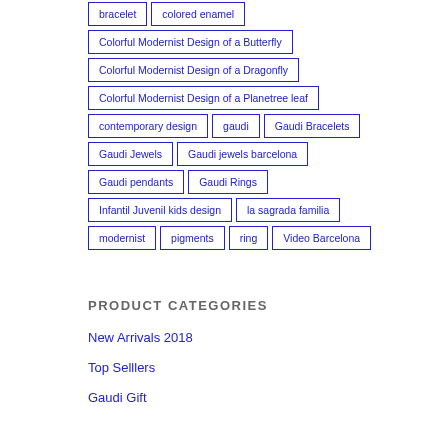bracelet
colored enamel
Colorful Modernist Design of a Butterfly
Colorful Modernist Design of a Dragonfly
Colorful Modernist Design of a Planetree leaf
contemporary design
gaudi
Gaudi Bracelets
Gaudi Jewels
Gaudi jewels barcelona
Gaudi pendants
Gaudi Rings
Infantil Juvenil kids design
la sagrada familia
modernist
pigments
ring
Video Barcelona
PRODUCT CATEGORIES
New Arrivals 2018
Top Selllers
Gaudi Gift